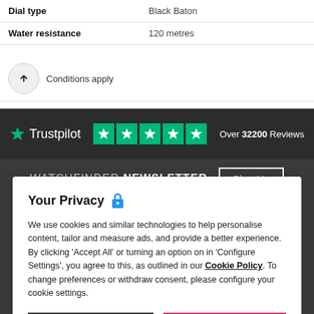| Dial type | Black Baton |
| --- | --- |
| Water resistance | 120 metres |
| --- | --- |
Conditions apply
[Figure (logo): Trustpilot logo with 5 green stars and text: Over 32200 Reviews]
WATCHFINDER NEWSLETTER Sign Up
Your Privacy
We use cookies and similar technologies to help personalise content, tailor and measure ads, and provide a better experience. By clicking 'Accept All' or turning an option on in 'Configure Settings', you agree to this, as outlined in our Cookie Policy. To change preferences or withdraw consent, please configure your cookie settings.
Configure Settings
Accept All